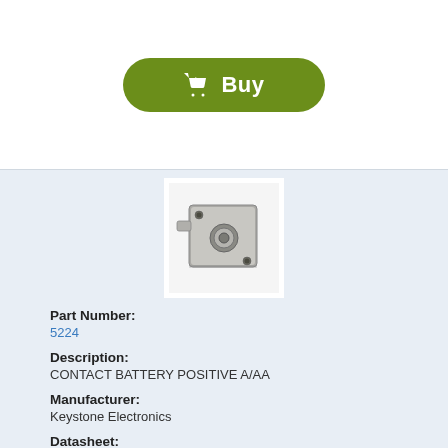[Figure (other): Green rounded rectangle Buy button with shopping cart icon and text 'Buy']
[Figure (photo): Photo of a metallic battery contact component (positive contact for A/AA battery), part number 5224 by Keystone Electronics]
Part Number:
5224
Description:
CONTACT BATTERY POSITIVE A/AA
Manufacturer:
Keystone Electronics
Datasheet:
5225.pdf  (3 pages)